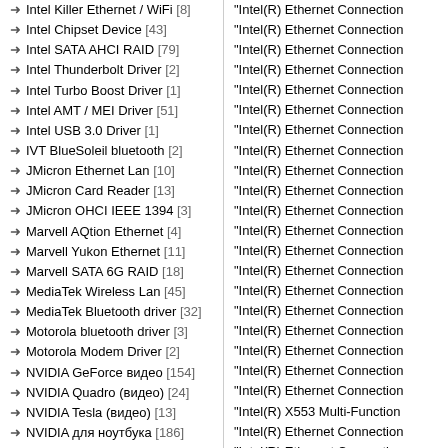Intel Killer Ethernet / WiFi [8]
Intel Chipset Device [43]
Intel SATA AHCI RAID [79]
Intel Thunderbolt Driver [2]
Intel Turbo Boost Driver [1]
Intel AMT / MEI Driver [51]
Intel USB 3.0 Driver [1]
IVT BlueSoleil bluetooth [2]
JMicron Ethernet Lan [10]
JMicron Card Reader [13]
JMicron OHCI IEEE 1394 [3]
Marvell AQtion Ethernet [4]
Marvell Yukon Ethernet [11]
Marvell SATA 6G RAID [18]
MediaTek Wireless Lan [45]
MediaTek Bluetooth driver [32]
Motorola bluetooth driver [3]
Motorola Modem Driver [2]
NVIDIA GeForce видео [154]
NVIDIA Quadro (видео) [24]
NVIDIA Tesla (видео) [13]
NVIDIA для ноутбука [186]
NVIDIA (System Tools) [3]
NVIDIA 3D Vision Driver [10]
NVIDIA PhysX (видео) [20]
NVIDIA nForce Chipset [6]
NVIDIA МРАМ... [?]
"Intel(R) Ethernet Connection (repeated entries on right column)"